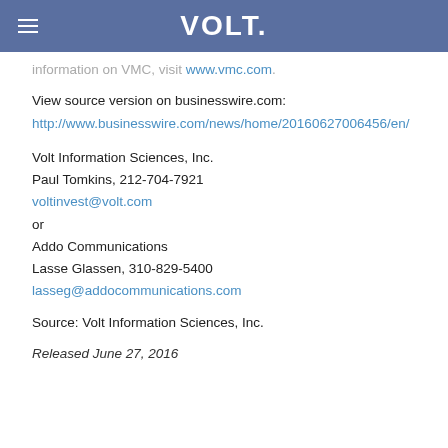VOLT.
information on VMC, visit www.vmc.com.
View source version on businesswire.com:
http://www.businesswire.com/news/home/20160627006456/en/
Volt Information Sciences, Inc.
Paul Tomkins, 212-704-7921
voltinvest@volt.com
or
Addo Communications
Lasse Glassen, 310-829-5400
lasseg@addocommunications.com
Source: Volt Information Sciences, Inc.
Released June 27, 2016